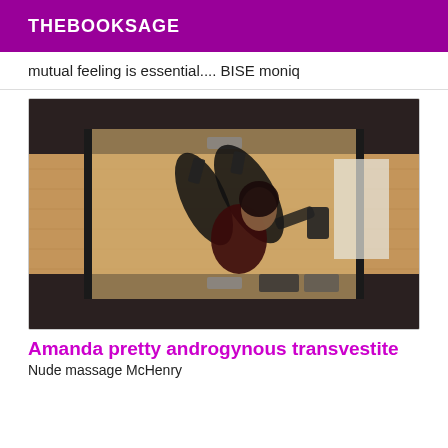THEBOOKSAGE
mutual feeling is essential.... BISE moniq
[Figure (photo): A person in black lingerie and stockings photographed in a mirror reflection in a room with wooden furniture and flooring.]
Amanda pretty androgynous transvestite
Nude massage McHenry